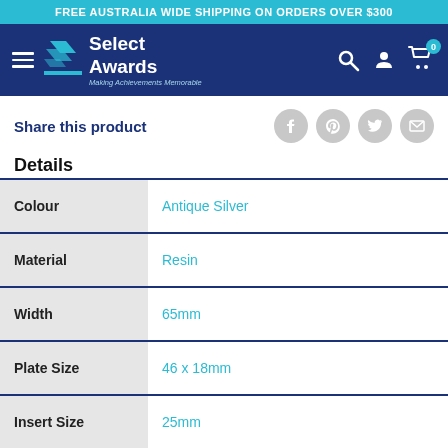FREE AUSTRALIA WIDE SHIPPING ON ORDERS OVER $300
[Figure (logo): Select Awards logo with nav bar, hamburger menu, search, account, and cart icons on dark blue background]
Share this product
Details
| Attribute | Value |
| --- | --- |
| Colour | Antique Silver |
| Material | Resin |
| Width | 65mm |
| Plate Size | 46 x 18mm |
| Insert Size | 25mm |